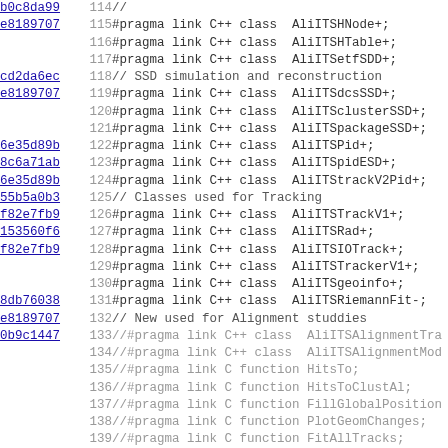[Figure (screenshot): Source code viewer showing lines 114-146 of a C++ pragma link file for ALICE ITS detector software. Left column shows abbreviated git commit hashes as hyperlinks, middle column shows line numbers, right column shows code content including #pragma link C++ class directives and comments.]